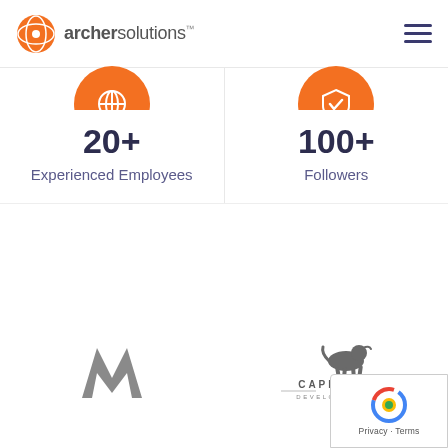archersolutions™
[Figure (infographic): Orange circle icon with microphone/globe symbol, above stat 20+ Experienced Employees]
20+
Experienced Employees
[Figure (infographic): Orange circle icon with location pin/check symbol, above stat 100+ Followers]
100+
Followers
[Figure (logo): Merrill Lynch or similar stylized M/N chevron logo in grey]
[Figure (logo): Capriole Developments logo with running horse and text CAPRIOLE DEVELOPMENTS in grey]
[Figure (logo): Google reCAPTCHA badge with Privacy and Terms links]